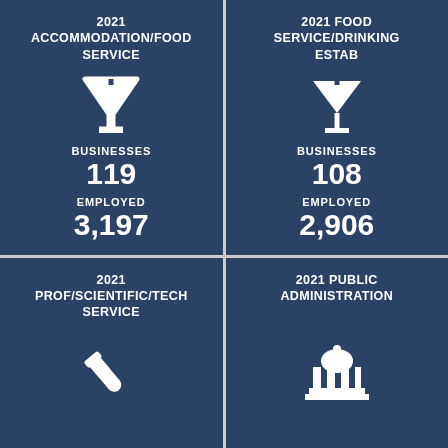[Figure (infographic): 2021 Accommodation/Food Service infographic tile with martini glass icon, showing 119 businesses and 3,197 employed]
[Figure (infographic): 2021 Food Service/Drinking Estab infographic tile with martini glass icon, showing 108 businesses and 2,906 employed]
[Figure (infographic): 2021 Prof/Scientific/Tech Service infographic tile with test tube icon (partial, bottom half shown)]
[Figure (infographic): 2021 Public Administration infographic tile with government building/capitol icon (partial, bottom half shown)]